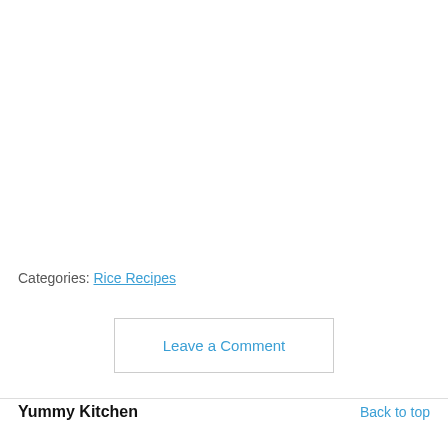Categories: Rice Recipes
Leave a Comment
Yummy Kitchen   Back to top